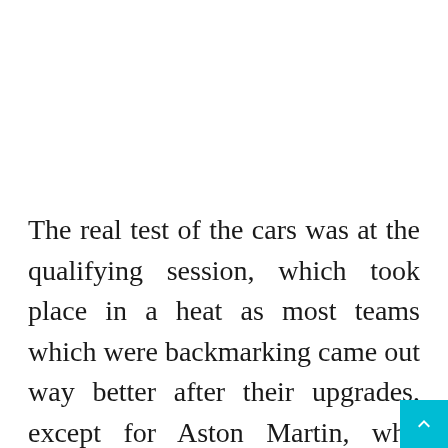The real test of the cars was at the qualifying session, which took place in a heat as most teams which were backmarking came out way better after their upgrades, except for Aston Martin, who looked even worse after their upgrades. Lance Stroll was seemingly knocked out of Q1, and soon after Sebastian Vettel set a good lap which made it look like he had made it till Q2. But a better lap from Mick Schumac